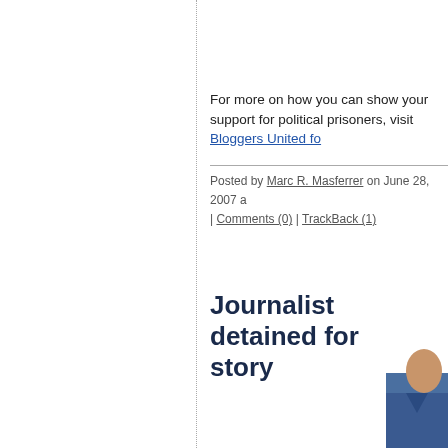For more on how you can show your support for political prisoners, visit Bloggers United fo...
Posted by Marc R. Masferrer on June 28, 2007 a | Comments (0) | TrackBack (1)
Journalist detained for story
[Figure (photo): Partial photo of a person in a blue suit with hand visible, cropped at bottom right corner of page]